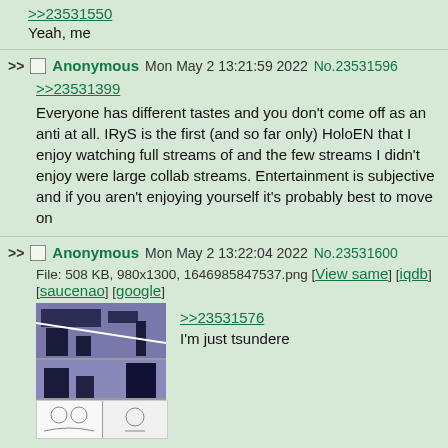>>23531550
Yeah, me
>> Anonymous Mon May 2 13:21:59 2022 No.23531596
>>23531399
Everyone has different tastes and you don't come off as an anti at all. IRyS is the first (and so far only) HoloEN that I enjoy watching full streams of and the few streams I didn't enjoy were large collab streams. Entertainment is subjective and if you aren't enjoying yourself it's probably best to move on
>> Anonymous Mon May 2 13:22:04 2022 No.23531600
File: 508 KB, 980x1300, 1646985847537.png [View same] [iqdb] [saucenao] [google]
>>23531576
I'm just tsundere